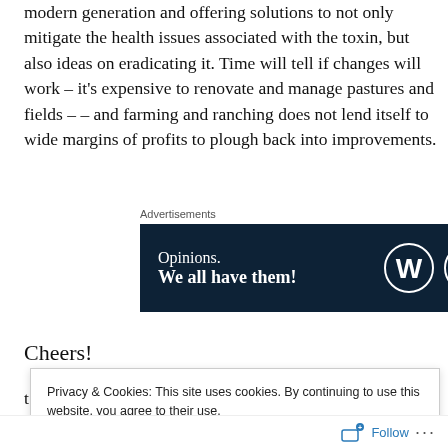modern generation and offering solutions to not only mitigate the health issues associated with the toxin, but also ideas on eradicating it.  Time will tell if changes will work – it's expensive to renovate and manage pastures and fields – – and farming and ranching does not lend itself to wide margins of profits to plough back into improvements.
[Figure (other): Advertisement banner with dark navy background. Left side shows text 'Opinions. We all have them!' in white. Right side shows WordPress logo (W in circle) and another circular logo.]
Cheers!
t
Privacy & Cookies: This site uses cookies. By continuing to use this website, you agree to their use.
To find out more, including how to control cookies, see here: Cookie Policy
Close and accept